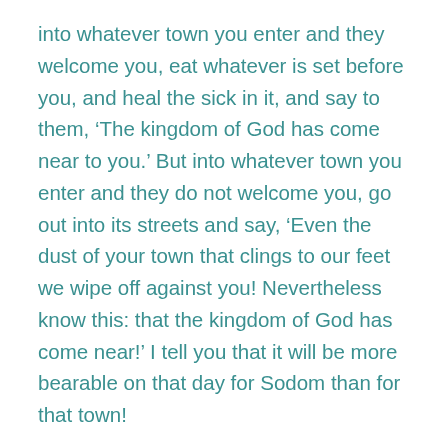into whatever town you enter and they welcome you, eat whatever is set before you, and heal the sick in it, and say to them, ‘The kingdom of God has come near to you.’ But into whatever town you enter and they do not welcome you, go out into its streets and say, ‘Even the dust of your town that clings to our feet we wipe off against you! Nevertheless know this: that the kingdom of God has come near!’ I tell you that it will be more bearable on that day for Sodom than for that town!
“Woe to you, Chorazin! Woe to you, Bethsaida! For if the miracles that were done in you had been done in Tyre and Sidon, they would have repented long ago, sitting in sackcloth and ashes! But it will be more bearable for Tyre and for Sidon in the judgment than for you! And you, Capernaum, will you be exalted to heaven? No! You will be brought down to Hades! The one who listens to you listens to me, and the one who rejects you rejects me. But